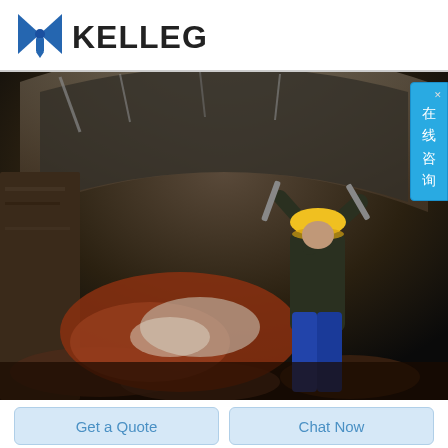[Figure (logo): KELLEG company logo with blue bowtie/tie icon and bold dark text 'KELLEG']
[Figure (photo): A worker wearing a yellow hard hat and blue protective pants is working inside a tunnel or underground space, holding tools overhead, surrounded by rock and debris]
[Figure (other): Chinese live chat overlay button on right side reading '在线咨询' (Online Consultation) in white text on blue background]
Get a Quote
Chat Now